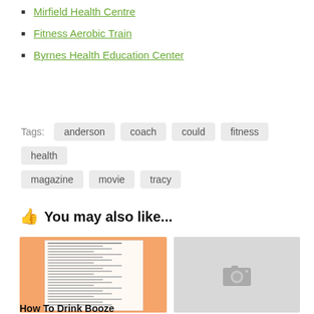Mirfield Health Centre
Fitness Aerobic Train
Byrnes Health Education Center
Tags: anderson coach could fitness health magazine movie tracy
👍 You may also like...
[Figure (photo): Thumbnail of a document with orange/peach background showing a list-style document]
[Figure (photo): Placeholder image thumbnail with camera icon on grey background]
How To Drink Booze